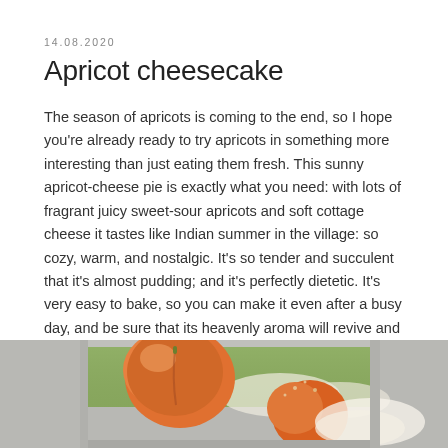14.08.2020
Apricot cheesecake
The season of apricots is coming to the end, so I hope you're already ready to try apricots in something more interesting than just eating them fresh. This sunny apricot-cheese pie is exactly what you need: with lots of fragrant juicy sweet-sour apricots and soft cottage cheese it tastes like Indian summer in the village: so cozy, warm, and nostalgic. It's so tender and succulent that it's almost pudding; and it's perfectly dietetic. It's very easy to bake, so you can make it even after a busy day, and be sure that its heavenly aroma will revive and renew you and make you forget all your troubles and worries!
[Figure (photo): Photo of an apricot cheesecake on a metal baking tray, showing golden-orange apricots on top of a green/cream base, partially visible from below]